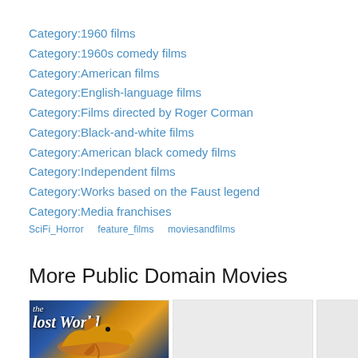Category:1960 films
Category:1960s comedy films
Category:American films
Category:English-language films
Category:Films directed by Roger Corman
Category:Black-and-white films
Category:American black comedy films
Category:Independent films
Category:Works based on the Faust legend
Category:Media franchises
SciFi_Horror   feature_films   moviesandfilms
More Public Domain Movies
[Figure (photo): Movie poster for 'The Lost World' showing a dinosaur against a blue background with yellow text]